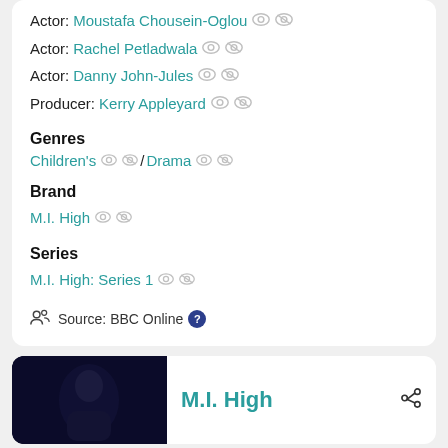Actor: Moustafa Chousein-Oglou
Actor: Rachel Petladwala
Actor: Danny John-Jules
Producer: Kerry Appleyard
Genres
Children's / Drama
Brand
M.I. High
Series
M.I. High: Series 1
Source: BBC Online
M.I. High